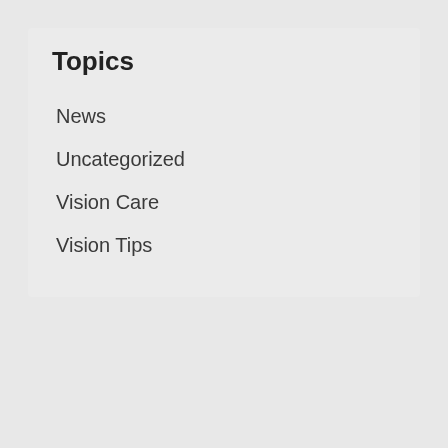Topics
News
Uncategorized
Vision Care
Vision Tips
Shop Online
Browse our online store for eye care products.
Shop Online